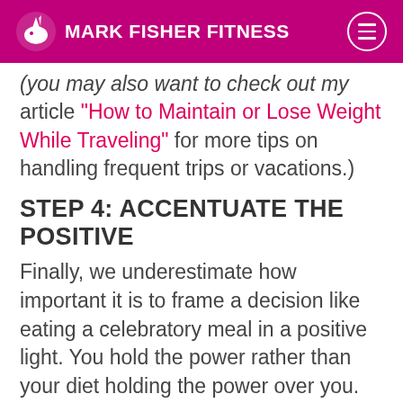MARK FISHER FITNESS
(You may also want to check out my article “How to Maintain or Lose Weight While Traveling” for more tips on handling frequent trips or vacations.)
STEP 4: ACCENTUATE THE POSITIVE
Finally, we underestimate how important it is to frame a decision like eating a celebratory meal in a positive light. You hold the power rather than your diet holding the power over you. When you make the choice, aim to